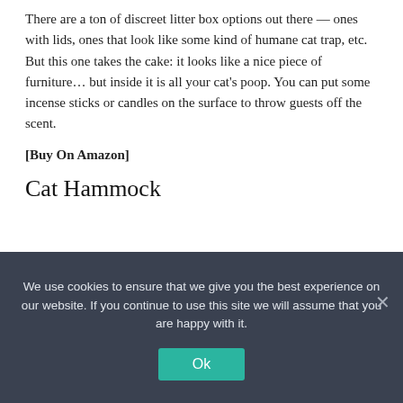There are a ton of discreet litter box options out there — ones with lids, ones that look like some kind of humane cat trap, etc. But this one takes the cake: it looks like a nice piece of furniture… but inside it is all your cat's poop. You can put some incense sticks or candles on the surface to throw guests off the scent.
[Buy On Amazon]
Cat Hammock
We use cookies to ensure that we give you the best experience on our website. If you continue to use this site we will assume that you are happy with it.